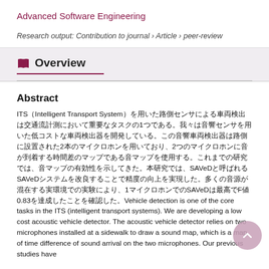Advanced Software Engineering
Research output: Contribution to journal › Article › peer-review
Overview
Abstract
ITS（Intelligent Transport System）を用いた路側センサによる車両検出は交通流計測において重要なタスクの1つである。我々は音響センサを用いた低コストな車両検出器を開発している。この音響車両検出器は路側に設置された2本のマイクロホンを用いており、2つのマイクロホンに音が到着する時間差のマップである音マップを使用する。これまでの研究では、音マップの有効性を示してきた。本研究では、SAVeDと呼ばれるSAVeDシステムを改良することで精度の向上を実現した。多くの音源が混在する実環境での実験により、1マイクロホンでのSAVeDは最高でF値0.83を達成したことを確認した。Vehicle detection is one of the core tasks in the ITS (intelligent transport systems). We are developing a low cost acoustic vehicle detector. The acoustic vehicle detector relies on two microphones installed at a sidewalk to draw a sound map, which is a map of time difference of sound arrival on the two microphones. Our previous studies have